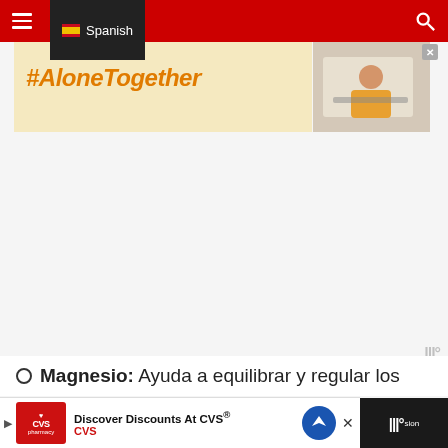≡ Spanish 🔍
[Figure (screenshot): Advertisement banner with #AloneTogether text in orange on yellow background, with image of woman on laptop on right side]
[Figure (screenshot): Large empty grey content area with watermark logo in bottom right]
Magnesio: Ayuda a equilibrar y regular los
[Figure (screenshot): Bottom advertisement bar: CVS Pharmacy - Discover Discounts At CVS® with navigation arrow icon]